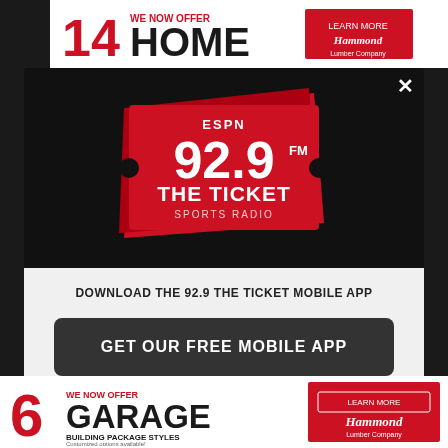[Figure (screenshot): Screenshot of a website popup modal for ESPN 92.9 FM The Ticket Sports Radio mobile app download prompt, with Amazon Alexa listen option. Background shows a Hammond Lumber Company advertisement.]
DOWNLOAD THE 92.9 THE TICKET MOBILE APP
GET OUR FREE MOBILE APP
Also listen on: amazon alexa